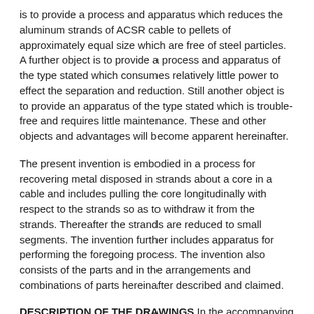is to provide a process and apparatus which reduces the aluminum strands of ACSR cable to pellets of approximately equal size which are free of steel particles. A further object is to provide a process and apparatus of the type stated which consumes relatively little power to effect the separation and reduction. Still another object is to provide an apparatus of the type stated which is trouble-free and requires little maintenance. These and other objects and advantages will become apparent hereinafter.
The present invention is embodied in a process for recovering metal disposed in strands about a core in a cable and includes pulling the core longitudinally with respect to the strands so as to withdraw it from the strands. Thereafter the strands are reduced to small segments. The invention further includes apparatus for performing the foregoing process. The invention also consists of the parts and in the arrangements and combinations of parts hereinafter described and claimed.
DESCRIPTION OF THE DRAWINGS In the accompanying drawings which form part of the specification and wherein like numerals and letters refer to like parts wherever the